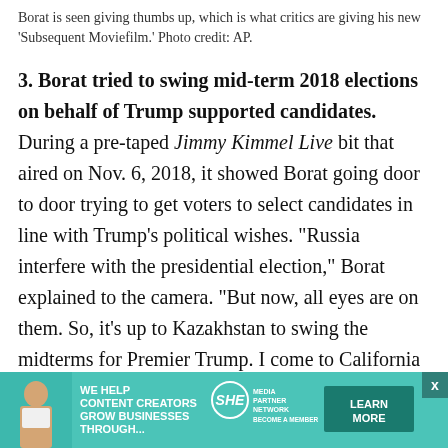Borat is seen giving thumbs up, which is what critics are giving his new ‘Subsequent Moviefilm.’ Photo credit: AP.
3. Borat tried to swing mid-term 2018 elections on behalf of Trump supported candidates. During a pre-taped Jimmy Kimmel Live bit that aired on Nov. 6, 2018, it showed Borat going door to door trying to get voters to select candidates in line with Trump’s political wishes. “Russia interfere with the presidential election,” Borat explained to the camera. “But now, all eyes are on them. So, it’s up to Kazakhstan to swing the midterms for Premier Trump. I come to California to do election tampering.” Borat showed up at several
[Figure (infographic): Advertisement banner for SHE Media Partner Network. Green/teal background with photo of woman, text 'We help content creators grow businesses through...', SHE logo, and 'Learn More' button.]